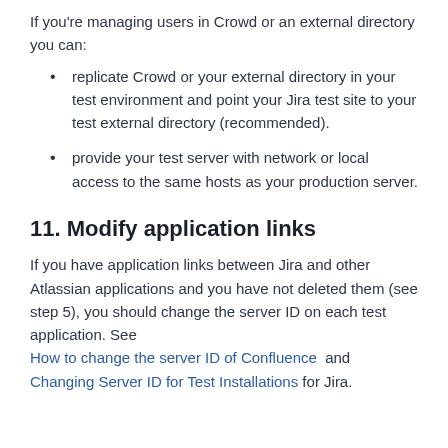If you're managing users in Crowd or an external directory you can:
replicate Crowd or your external directory in your test environment and point your Jira test site to your test external directory (recommended).
provide your test server with network or local access to the same hosts as your production server.
11. Modify application links
If you have application links between Jira and other Atlassian applications and you have not deleted them (see step 5), you should change the server ID on each test application. See How to change the server ID of Confluence  and Changing Server ID for Test Installations for Jira.